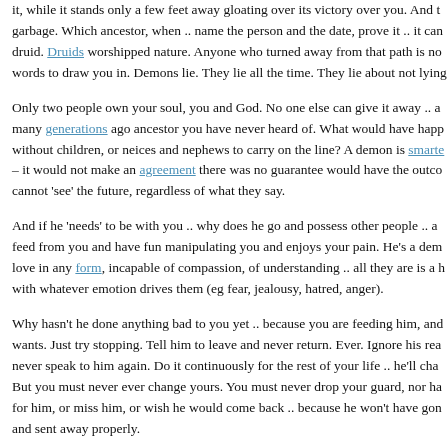it, while it stands only a few feet away gloating over its victory over you. And garbage. Which ancestor, when .. name the person and the date, prove it .. it can druid. Druids worshipped nature. Anyone who turned away from that path is no words to draw you in. Demons lie. They lie all the time. They lie about not lying
Only two people own your soul, you and God. No one else can give it away .. a many generations ago ancestor you have never heard of. What would have happ without children, or neices and nephews to carry on the line? A demon is smarte – it would not make an agreement there was no guarantee would have the outco cannot 'see' the future, regardless of what they say.
And if he 'needs' to be with you .. why does he go and possess other people .. a feed from you and have fun manipulating you and enjoys your pain. He's a dem love in any form, incapable of compassion, of understanding .. all they are is a h with whatever emotion drives them (eg fear, jealousy, hatred, anger).
Why hasn't he done anything bad to you yet .. because you are feeding him, and wants. Just try stopping. Tell him to leave and never return. Ever. Ignore his rea never speak to him again. Do it continuously for the rest of your life .. he'll cha But you must never ever change yours. You must never drop your guard, nor ha for him, or miss him, or wish he would come back .. because he won't have gon and sent away properly.
If this was a living person you could turn your back and walk away. You are